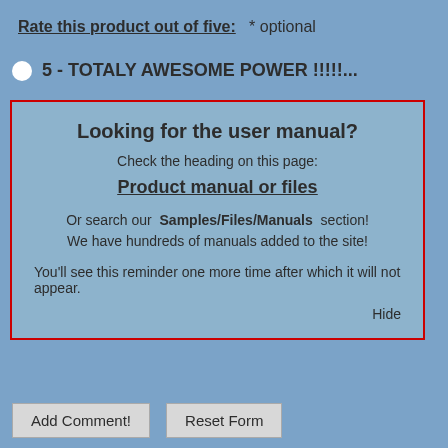Rate this product out of five:  * optional
5 - TOTALY AWESOME POWER !!!!!...
[Figure (screenshot): A modal/popup box with red border on a blue background. Contains heading 'Looking for the user manual?', subtext 'Check the heading on this page:', bold underlined link text 'Product manual or files', body text about Samples/Files/Manuals section and hundreds of manuals, a reminder message, and a 'Hide' link at bottom right.]
Looking for the user manual?
Check the heading on this page:
Product manual or files
Or search our Samples/Files/Manuals section! We have hundreds of manuals added to the site!
You'll see this reminder one more time after which it will not appear.
Hide
Add Comment!
Reset Form